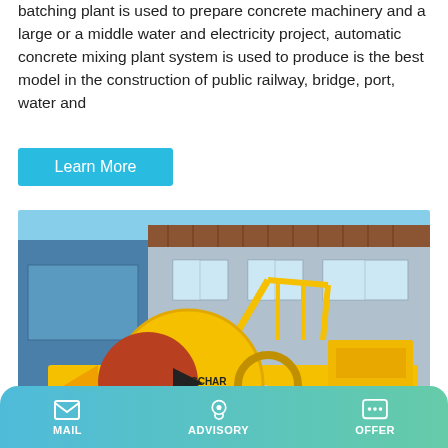batching plant is used to prepare concrete machinery and a large or a middle water and electricity project, automatic concrete mixing plant system is used to produce is the best model in the construction of public railway, bridge, port, water and
Learn More
[Figure (photo): Yellow concrete mixer truck/pump machine parked in front of a building. The machine has a large rotating drum with 'DISCHAR MIXING' text and directional arrows. The machine is yellow with blue accents, on a flatbed platform with wheels.]
MAIL   ADVISORY   OFFER